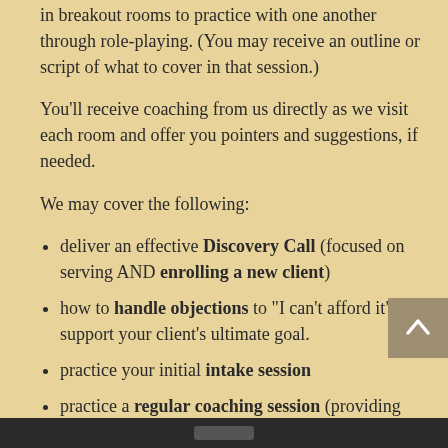in breakout rooms to practice with one another through role-playing. (You may receive an outline or script of what to cover in that session.)
You'll receive coaching from us directly as we visit each room and offer you pointers and suggestions, if needed.
We may cover the following:
deliver an effective Discovery Call (focused on serving AND enrolling a new client)
how to handle objections to "I can't afford it" to support your client's ultimate goal.
practice your initial intake session
practice a regular coaching session (providing specific action steps)